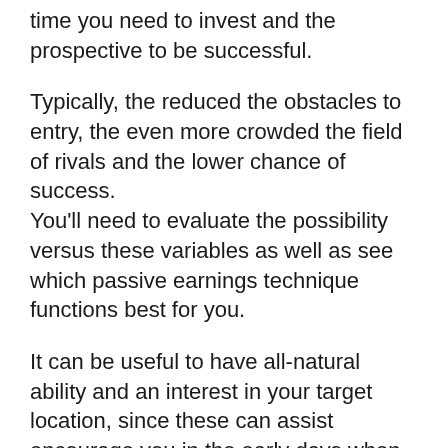time you need to invest and the prospective to be successful.
Typically, the reduced the obstacles to entry, the even more crowded the field of rivals and the lower chance of success.
You'll need to evaluate the possibility versus these variables as well as see which passive earnings technique functions best for you.
It can be useful to have all-natural ability and an interest in your target location, since these can assist encourage you in the early days when things are likely to be tougher.
There are easy revenue chances for people who are beginning with some money and even those that have no cash to begin.